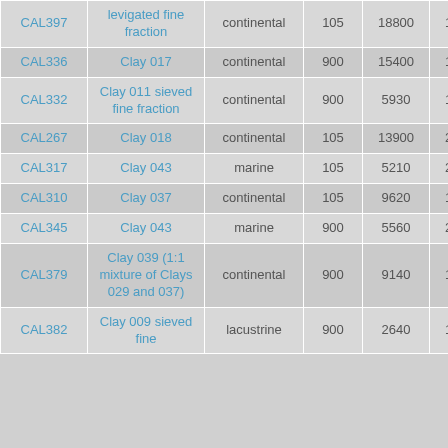| CAL397 | levigated fine fraction | continental | 105 | 18800 | 18900 | 0 | 11 |
| CAL336 | Clay 017 | continental | 900 | 15400 | 18400 | 0 | 9. |
| CAL332 | Clay 011 sieved fine fraction | continental | 900 | 5930 | 14300 | 0 | 14 |
| CAL267 | Clay 018 | continental | 105 | 13900 | 21800 | 0 | 15 |
| CAL317 | Clay 043 | marine | 105 | 5210 | 23000 | 0 | 18 |
| CAL310 | Clay 037 | continental | 105 | 9620 | 17500 | 0 | 13 |
| CAL345 | Clay 043 | marine | 900 | 5560 | 25100 | 0 | 19 |
| CAL379 | Clay 039 (1:1 mixture of Clays 029 and 037) | continental | 900 | 9140 | 19600 | 63700 | 13 |
| CAL382 | Clay 009 sieved fine | lacustrine | 900 | 2640 | 19700 | 0 | 10 |